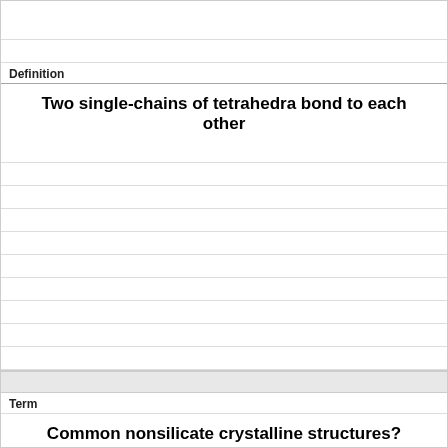Definition
Two single-chains of tetrahedra bond to each other
Term
Common nonsilicate crystalline structures?